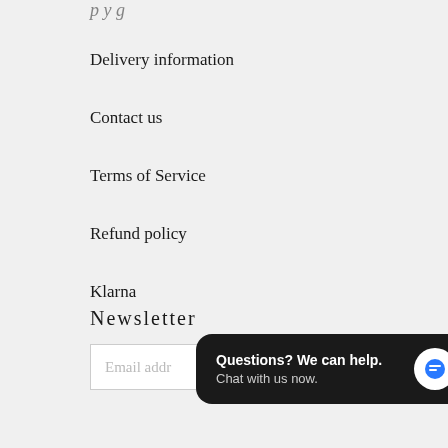Delivery information
Contact us
Terms of Service
Refund policy
Klarna
Newsletter
Email address
SUBSCRIBE
Questions? We can help. Chat with us now.